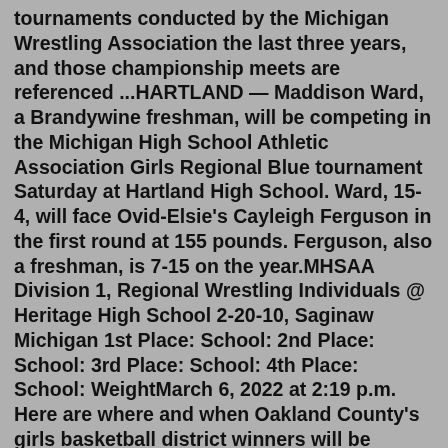tournaments conducted by the Michigan Wrestling Association the last three years, and those championship meets are referenced ...HARTLAND — Maddison Ward, a Brandywine freshman, will be competing in the Michigan High School Athletic Association Girls Regional Blue tournament Saturday at Hartland High School. Ward, 15-4, will face Ovid-Elsie's Cayleigh Ferguson in the first round at 155 pounds. Ferguson, also a freshman, is 7-15 on the year.MHSAA Division 1, Regional Wrestling Individuals @ Heritage High School 2-20-10, Saginaw Michigan 1st Place: School: 2nd Place: School: 3rd Place: School: 4th Place: School: WeightMarch 6, 2022 at 2:19 p.m. Here are where and when Oakland County's girls basketball district winners will be playing in this week's regionals: DIVISION 1. Regional 2. (At Fenton) Tuesday ...Also earning a trip to Ford Field was junior Devlin Duff (29-19) who finished in third place at 145 pounds. Duff, a first year wrestler, punched his ticket to the MHSAA State Finals in his first attempt after defeating Pylinn Hale